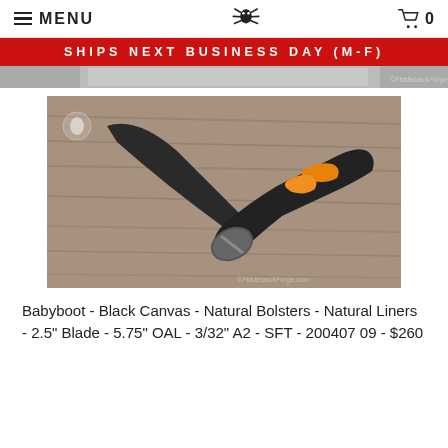MENU  [spider logo]  0
SHIPS NEXT BUSINESS DAY (M-F)
[Figure (photo): Partial cropped photo of a knife/tool product on a wood surface]
[Figure (photo): Photo of a Babyboot knife with black body and orange/yellow handle accents, resting on a weathered wood surface. Watermark: ©FiddlebackForge.com]
Babyboot - Black Canvas - Natural Bolsters - Natural Liners - 2.5" Blade - 5.75" OAL - 3/32" A2 - SFT - 200407 09 - $260